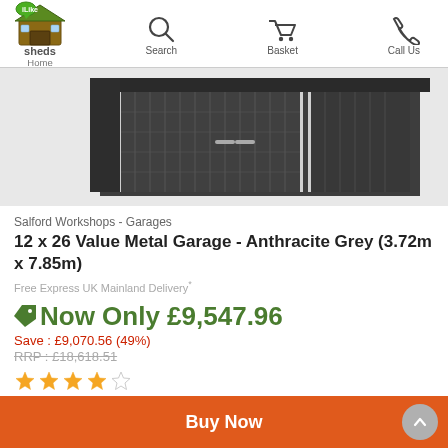iLike Sheds — Home | Search | Basket | Call Us
[Figure (photo): Dark anthracite grey metal garage building photographed from an angle showing roller door and side panels]
Salford Workshops - Garages
12 x 26 Value Metal Garage - Anthracite Grey (3.72m x 7.85m)
Free Express UK Mainland Delivery*
Now Only £9,547.96
Save : £9,070.56 (49%)
RRP : £18,618.51
★★★★☆ (4 out of 5 stars)
Buy Now